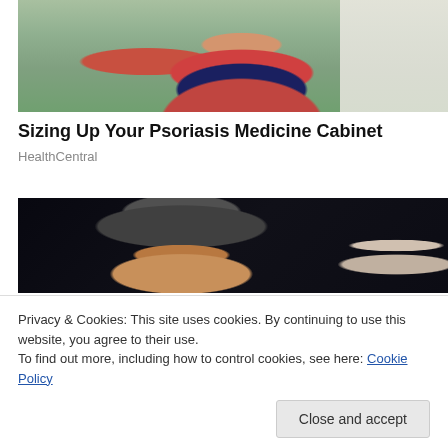[Figure (photo): Woman in red plaid shirt in a pharmacy aisle holding up product packaging, store shelves visible in background]
Sizing Up Your Psoriasis Medicine Cabinet
HealthCentral
[Figure (photo): Young man smiling wearing a snapback cap, dark background, blurred figure visible to the right]
Privacy & Cookies: This site uses cookies. By continuing to use this website, you agree to their use.
To find out more, including how to control cookies, see here: Cookie Policy
Close and accept
[Figure (photo): Partial view of another photo at the bottom of the page, appears to show a person in a red top]